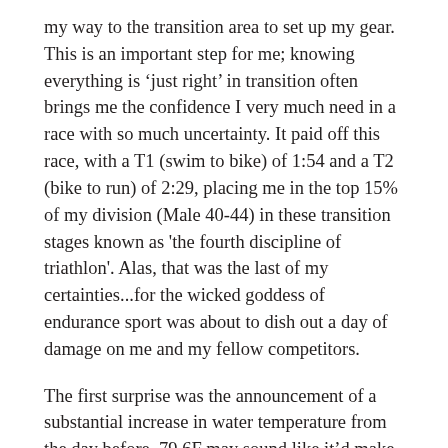my way to the transition area to set up my gear. This is an important step for me; knowing everything is 'just right' in transition often brings me the confidence I very much need in a race with so much uncertainty. It paid off this race, with a T1 (swim to bike) of 1:54 and a T2 (bike to run) of 2:29, placing me in the top 15% of my division (Male 40-44) in these transition stages known as 'the fourth discipline of triathlon'. Alas, that was the last of my certainties...for the wicked goddess of endurance sport was about to dish out a day of damage on me and my fellow competitors.
The first surprise was the announcement of a substantial increase in water temperature from the day before. 79.6F may sound like it'd make for a more comfortable swim, but it also disqualifies wetsuits according to USAT rules. This means anywhere between a 10-30% slower swim as we lose the streamlining and buoyancy offered by a wetsuit, and a corresponding increase in the internal energy required to get through the stage. Not daunted, I entered the water with 352 other men aged 40-44 for my first large